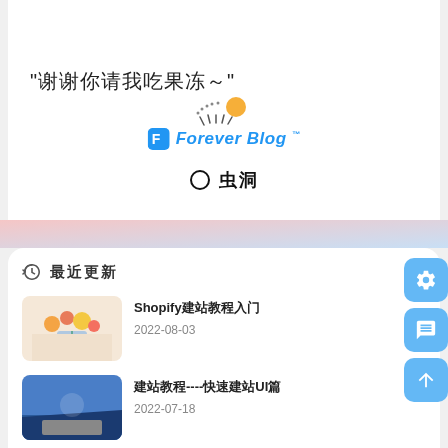[Figure (illustration): Decorative sunburst/clock-like icon at top of card]
“谢谢你请我吃果冻～”
[Figure (logo): Forever Blog logo with blue F icon and italic text]
[Figure (logo): Chong Dong logo with circle and Chinese characters]
最近更新
Shopify建站教程入門
2022-08-03
建站教程----快速建站UI篇
2022-07-18
建站教程----快速建站资源篇